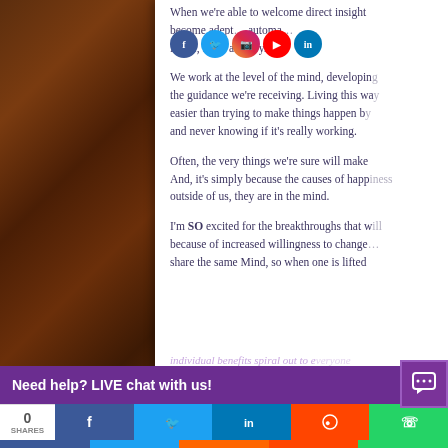[Figure (photo): Brown wooden texture panel on left side of page]
When we're able to welcome direct insight... become adept... automatically... Peace, Love and Joy.
We work at the level of the mind, developing the guidance we're receiving. Living this way is easier than trying to make things happen by... and never knowing if it's really working.
Often, the very things we're sure will make... And, it's simply because the causes of happiness are not outside of us, they are in the mind.
I'm SO excited for the breakthroughs that will come because of increased willingness to change... share the same Mind, so when one is lifted... individual benefits spiral out to everyone.
[Figure (screenshot): Bottom overlay with purple live chat bar reading 'Need help? LIVE chat with us!' and social share buttons (Facebook, Twitter, LinkedIn, Reddit, WhatsApp) with 0 shares counter]